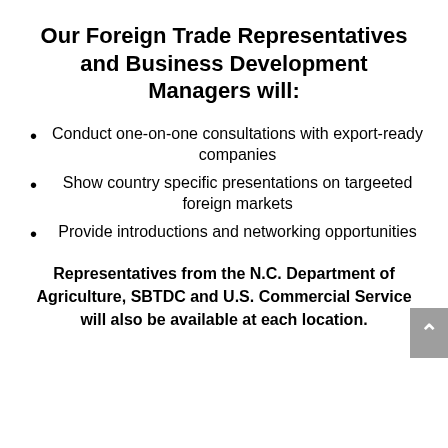Our Foreign Trade Representatives and Business Development Managers will:
Conduct one-on-one consultations with export-ready companies
Show country specific presentations on targeeted foreign markets
Provide introductions and networking opportunities
Representatives from the N.C. Department of Agriculture, SBTDC and U.S. Commercial Service will also be available at each location.